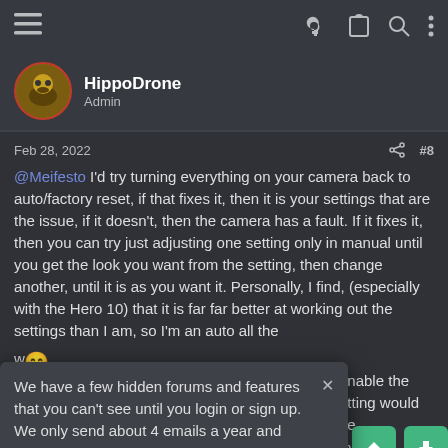Navigation bar with menu icon, key, clipboard, search, and more options icons
HippoDrone
Admin
Feb 28, 2022  #8
@Meifesto I'd try turning everything on your camera back to auto/factory reset, if that fixes it, then it is your settings that are the issue, if it doesn't, then the camera has a fault. If it fixes it, then you can try just adjusting one setting only in manual until you get the look you want from the setting, then change another, until it is as you want it. Personally, I find, (especially with the Hero 10) that it is far far better at working out the settings than I am, so I'm an auto all the w
We have a few hidden forums and features that you can't see until you login or sign up. We only send about 4 emails a year and never sell anything. We're a global community for bikers who like to record videos. We run this site for fun
enable the setting would be m